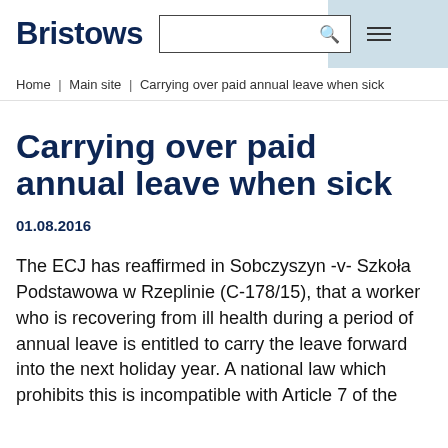Bristows
Home | Main site | Carrying over paid annual leave when sick
Carrying over paid annual leave when sick
01.08.2016
The ECJ has reaffirmed in Sobczyszyn -v- Szkoła Podstawowa w Rzeplinie (C-178/15), that a worker who is recovering from ill health during a period of annual leave is entitled to carry the leave forward into the next holiday year. A national law which prohibits this is incompatible with Article 7 of the